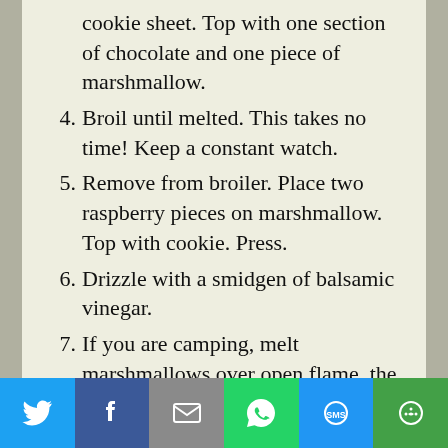cookie sheet. Top with one section of chocolate and one piece of marshmallow.
4. Broil until melted. This takes no time! Keep a constant watch.
5. Remove from broiler. Place two raspberry pieces on marshmallow. Top with cookie. Press.
6. Drizzle with a smidgen of balsamic vinegar.
7. If you are camping, melt marshmallows over open flame, the old fashioned way.